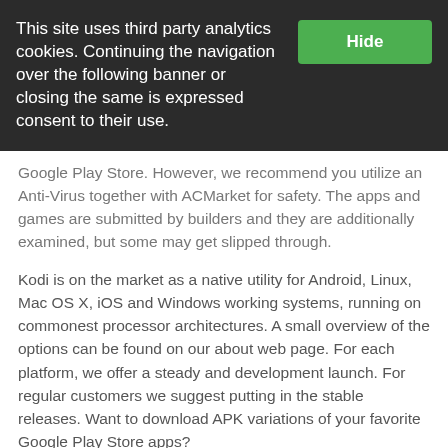This site uses third party analytics cookies. Continuing the navigation over the following banner or closing the same is expressed consent to their use.
Google Play Store. However, we recommend you utilize an Anti-Virus together with ACMarket for safety. The apps and games are submitted by builders and they are additionally examined, but some may get slipped through.
Kodi is on the market as a native utility for Android, Linux, Mac OS X, iOS and Windows working systems, running on commonest processor architectures. A small overview of the options can be found on our about web page. For each platform, we offer a steady and development launch. For regular customers we suggest putting in the stable releases. Want to download APK variations of your favorite Google Play Store apps?